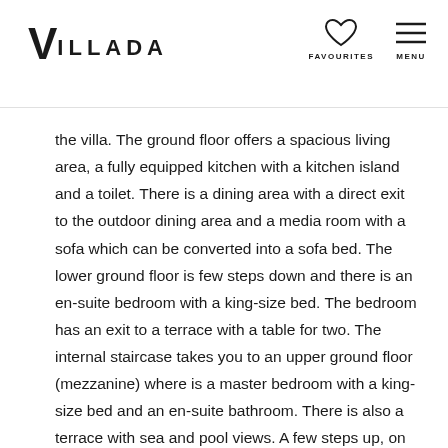VILLADA — FAVOURITES — MENU
the villa. The ground floor offers a spacious living area, a fully equipped kitchen with a kitchen island and a toilet. There is a dining area with a direct exit to the outdoor dining area and a media room with a sofa which can be converted into a sofa bed. The lower ground floor is few steps down and there is an en-suite bedroom with a king-size bed. The bedroom has an exit to a terrace with a table for two. The internal staircase takes you to an upper ground floor (mezzanine) where is a master bedroom with a king-size bed and an en-suite bathroom. There is also a terrace with sea and pool views. A few steps up, on the first floor level, there are two bedrooms with a king-size bed and an en-suite bathroom in both of them. Other bedroom on this floor has also a balcony with sea views. First floor level offers a laundry with a washing machine and a dryer.
The outdoor area offers a covered dining area with a BBQ grill and a direct entrance to the living area. There is a private 11 m x 3 m heated pool, a jacuzzi with amazing sea views and a spacious sun